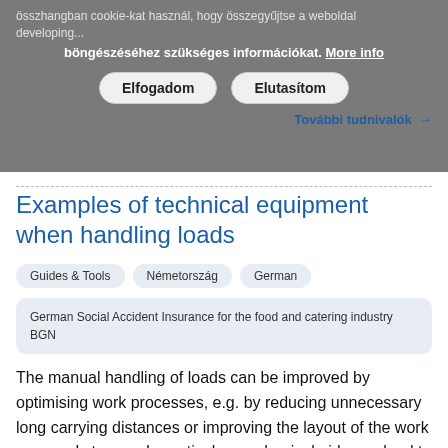összhangban cookie-kat használ, hogy összegyűjtse a weboldal developing... böngészéséhez szükséges információkat. More info
Elfogadom  Elutasítom
További tudnivalók →
Examples of technical equipment when handling loads
Guides & Tools   Németország   German
German Social Accident Insurance for the food and catering industry BGN
The manual handling of loads can be improved by optimising work processes, e.g. by reducing unnecessary long carrying distances or improving the layout of the work area and storage. In particular mechanical aids can lead to a significant reduction of physical strain when handling heavy loads. This...